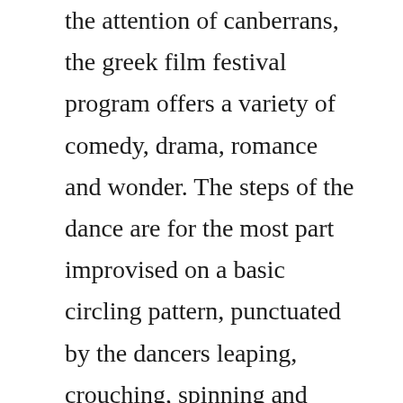the attention of canberrans, the greek film festival program offers a variety of comedy, drama, romance and wonder. The steps of the dance are for the most part improvised on a basic circling pattern, punctuated by the dancers leaping, crouching, spinning and kneeling. Director roza of smyrna giorgos kordellas was born on december 23, 1959 in kozani, greece. Link to original article english subtitles to be featured for all films the 14th annual san francisco greek film festival sfgff will be showcasing 27 feature films and shorts from directors of greekcypriot descent from